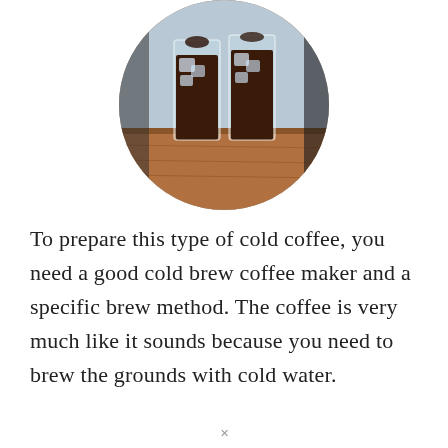[Figure (photo): Circular cropped photo of two tall glasses of iced cold brew coffee on a wooden surface, with ice and dark liquid visible, light blue background behind glasses.]
To prepare this type of cold coffee, you need a good cold brew coffee maker and a specific brew method. The coffee is very much like it sounds because you need to brew the grounds with cold water.
x